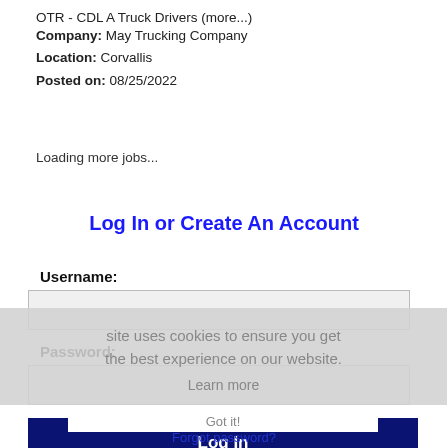OTR - CDL A Truck Drivers (more...)
Company: May Trucking Company
Location: Corvallis
Posted on: 08/25/2022
Loading more jobs...
Log In or Create An Account
Username:
Password:
Log In
site uses cookies to ensure you get the best experience on our website. Learn more
Got it!
Forgot password?